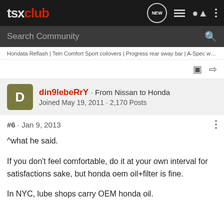tsxclub
Search Community
Hondata Reflash | Tein Comfort Sport coilovers | Progress rear sway bar | A-Spec wheels | Michelin Premier
din9lebeRrY · From Nissan to Honda
Joined May 19, 2011 · 2,170 Posts
#6 · Jan 9, 2013
^what he said.

If you don't feel comfortable, do it at your own interval for satisfactions sake, but honda oem oil+filter is fine.

In NYC, lube shops carry OEM honda oil.